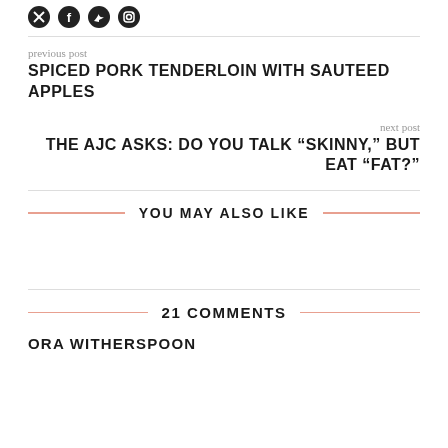[Figure (illustration): Social media icons: circular icon, Facebook icon, Twitter bird icon, Instagram icon]
previous post
SPICED PORK TENDERLOIN WITH SAUTEED APPLES
next post
THE AJC ASKS: DO YOU TALK “SKINNY,” BUT EAT “FAT?”
YOU MAY ALSO LIKE
21 COMMENTS
ORA WITHERSPOON